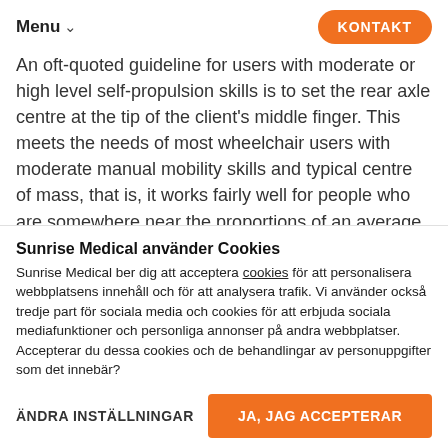Menu  KONTAKT
An oft-quoted guideline for users with moderate or high level self-propulsion skills is to set the rear axle centre at the tip of the client's middle finger. This meets the needs of most wheelchair users with moderate manual mobility skills and typical centre of mass, that is, it works fairly well for people who are somewhere near the proportions of an average crash test dummy. But, what to do when this might not be an appropriate point?
Sunrise Medical använder Cookies
Sunrise Medical ber dig att acceptera cookies för att personalisera webbplatsens innehåll och för att analysera trafik. Vi använder också tredje part för sociala media och cookies för att erbjuda sociala mediafunktioner och personliga annonser på andra webbplatser. Accepterar du dessa cookies och de behandlingar av personuppgifter som det innebär?
ÄNDRA INSTÄLLNINGAR
JA, JAG ACCEPTERAR